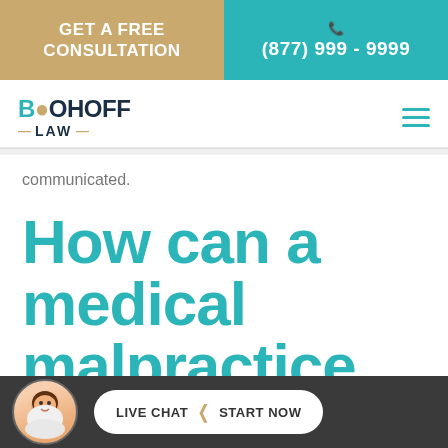GET A FREE CONSULTATION | (877) 999 - 9999
[Figure (logo): Boohoff Law logo with teal and gold branding]
communicated.
How can a medical malpractice
[Figure (other): Live chat widget with agent avatar, 'LIVE CHAT > START NOW' button on dark bar]